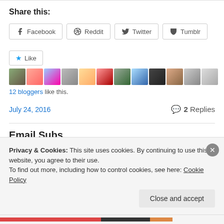Share this:
Facebook  Reddit  Twitter  Tumblr
[Figure (other): Like button with star icon and avatars of 12 bloggers who liked the post]
12 bloggers like this.
July 24, 2016    2 Replies
Email Subscription
Privacy & Cookies: This site uses cookies. By continuing to use this website, you agree to their use.
To find out more, including how to control cookies, see here: Cookie Policy